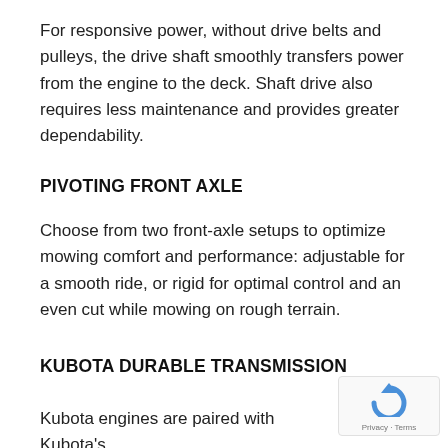For responsive power, without drive belts and pulleys, the drive shaft smoothly transfers power from the engine to the deck. Shaft drive also requires less maintenance and provides greater dependability.
PIVOTING FRONT AXLE
Choose from two front-axle setups to optimize mowing comfort and performance: adjustable for a smooth ride, or rigid for optimal control and an even cut while mowing on rough terrain.
KUBOTA DURABLE TRANSMISSION
Kubota engines are paired with Kubota's